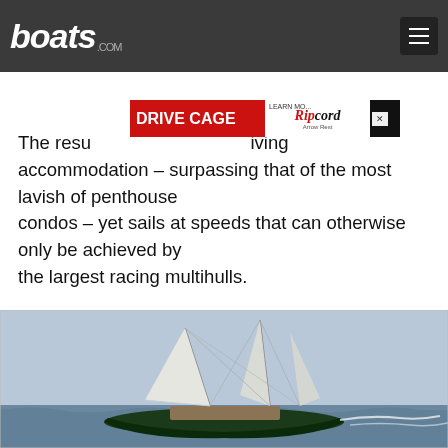boats.com
[Figure (other): Advertisement banner for Drive Cage and Ripcord Arrow Rest products]
The result is a living accommodation – surpassing that of the most lavish of penthouse condos – yet sails at speeds that can otherwise only be achieved by the largest racing multihulls.
[Figure (photo): A large sailing yacht with multiple sails raised, sailing on open water with waves, dark green hull]